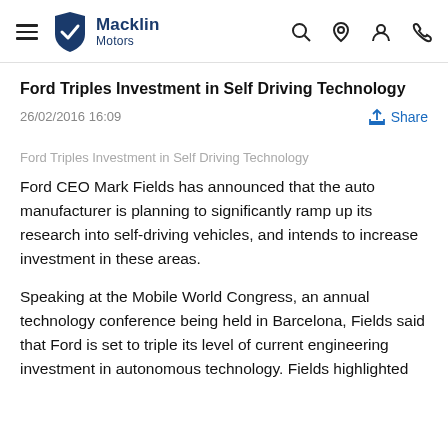Macklin Motors
Ford Triples Investment in Self Driving Technology
26/02/2016 16:09
Ford Triples Investment in Self Driving Technology
Ford CEO Mark Fields has announced that the auto manufacturer is planning to significantly ramp up its research into self-driving vehicles, and intends to increase investment in these areas.
Speaking at the Mobile World Congress, an annual technology conference being held in Barcelona, Fields said that Ford is set to triple its level of current engineering investment in autonomous technology. Fields highlighted